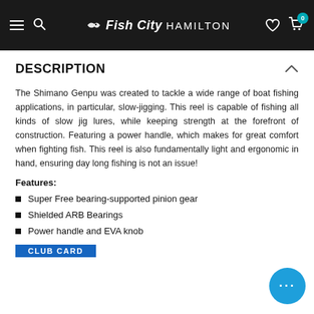Fish City Hamilton
DESCRIPTION
The Shimano Genpu was created to tackle a wide range of boat fishing applications, in particular, slow-jigging. This reel is capable of fishing all kinds of slow jig lures, while keeping strength at the forefront of construction. Featuring a power handle, which makes for great comfort when fighting fish. This reel is also fundamentally light and ergonomic in hand, ensuring day long fishing is not an issue!
Features:
Super Free bearing-supported pinion gear
Shielded ARB Bearings
Power handle and EVA knob